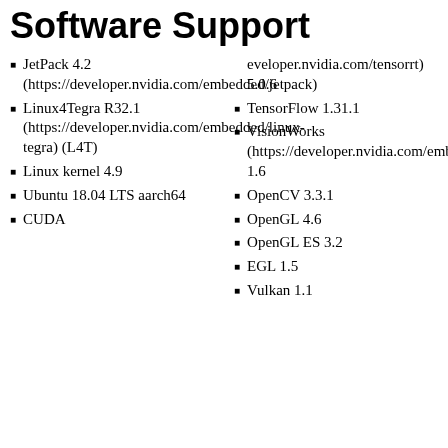Software Support
JetPack 4.2 (https://developer.nvidia.com/embedded/jetpack)
Linux4Tegra R32.1 (https://developer.nvidia.com/embedded/linux-tegra) (L4T)
Linux kernel 4.9
Ubuntu 18.04 LTS aarch64
CUDA
eveloper.nvidia.com/tensorrt) 5.0.6
TensorFlow 1.31.1
VisionWorks (https://developer.nvidia.com/embedded/visionworks) 1.6
OpenCV 3.3.1
OpenGL 4.6
OpenGL ES 3.2
EGL 1.5
Vulkan 1.1